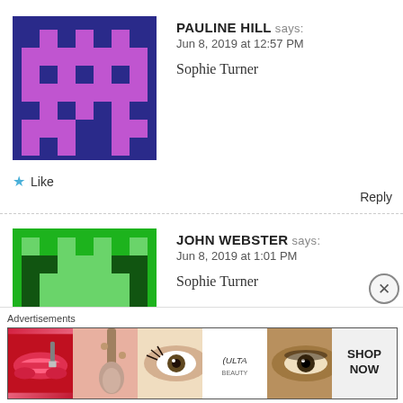[Figure (illustration): Pixel art avatar for Pauline Hill — purple/magenta character on dark blue background]
PAULINE HILL says:
Jun 8, 2019 at 12:57 PM
Sophie Turner
★ Like
Reply
[Figure (illustration): Pixel art avatar for John Webster — green character on green background]
JOHN WEBSTER says:
Jun 8, 2019 at 1:01 PM
Sophie Turner
★ Like
Reply
[Figure (illustration): Pixel art avatar for Claire Stepton — red background with pixel elements]
CLAIRE STEPTON says:
Advertisements
[Figure (photo): Ulta Beauty advertisement banner showing makeup images — lips, brush, eye, Ulta logo, smoky eye, and SHOP NOW text]